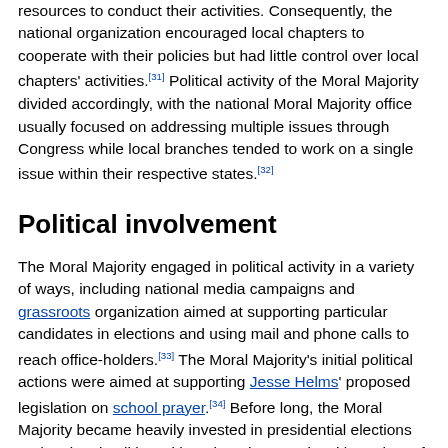resources to conduct their activities. Consequently, the national organization encouraged local chapters to cooperate with their policies but had little control over local chapters' activities.[31] Political activity of the Moral Majority divided accordingly, with the national Moral Majority office usually focused on addressing multiple issues through Congress while local branches tended to work on a single issue within their respective states.[32]
Political involvement
The Moral Majority engaged in political activity in a variety of ways, including national media campaigns and grassroots organization aimed at supporting particular candidates in elections and using mail and phone calls to reach office-holders.[33] The Moral Majority's initial political actions were aimed at supporting Jesse Helms' proposed legislation on school prayer.[34] Before long, the Moral Majority became heavily invested in presidential elections and national politics; although at the state level branches of the Moral Majority continued to pursue specific issues at lower levels of government. As far as elections, state Moral Majority chapters tended to deliberately focus their efforts towards particular candidates. For example, state chapters participated in campaigns to oust liberal members of Congress during the 1980 election. Also, in 1981, the Moral Majority mobilized delegates to